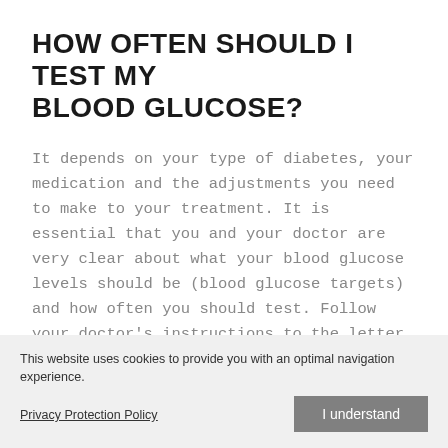HOW OFTEN SHOULD I TEST MY BLOOD GLUCOSE?
It depends on your type of diabetes, your medication and the adjustments you need to make to your treatment. It is essential that you and your doctor are very clear about what your blood glucose levels should be (blood glucose targets) and how often you should test. Follow your doctor's instructions to the letter.
WHICH DEVICE SHOULD I CHOOSE?
Choosing a blood glucose meter is key because you will use it next every day. So choose a meter that you like and that is easy for you to use. The most important criteria for selecting it...
This website uses cookies to provide you with an optimal navigation experience.
Privacy Protection Policy
I understand